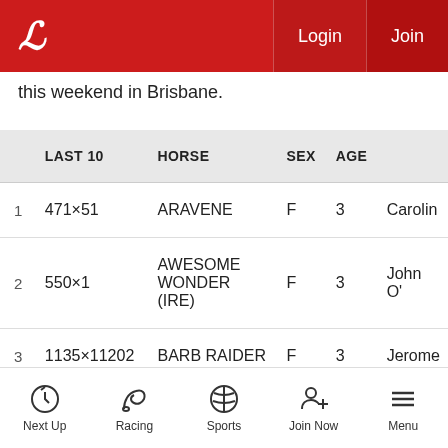Login  Join
this weekend in Brisbane.
|  | LAST 10 | HORSE | SEX | AGE |  |
| --- | --- | --- | --- | --- | --- |
| 1 | 471×51 | ARAVENE | F | 3 | Carolin |
| 2 | 550×1 | AWESOME WONDER (IRE) | F | 3 | John O' |
| 3 | 1135×11202 | BARB RAIDER | F | 3 | Jerome |
| 4 | 1×142 | BELLE SAVOIR | F | 3 | Nick Ry |
| 5 | 21x7833x85 | BISCAYNE BAY | F | 3 | Ciaron |
Next Up  Racing  Sports  Join Now  Menu